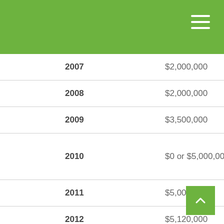| Year | Exemption Amount | Tax Rate |
| --- | --- | --- |
| 2007 | $2,000,000 | 45.0% |
| 2008 | $2,000,000 | 45.0% |
| 2009 | $3,500,000 | 45.0% |
| 2010 | $0 or $5,000,000 | 0% or 35% |
| 2011 | $5,000,000 | 35.0% |
| 2012 | $5,120,000 | 35.0% |
| 2013 | $5,250,000 | 39.6% |
| 2014 | $5,340,000 | 39.6% |
| 2015 | $5,430,000 | 39.6% |